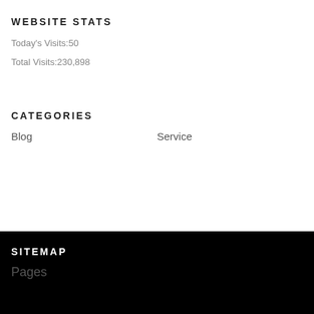WEBSITE STATS
Today's Visits:50
Total Visits:230,898
CATEGORIES
Blog
Service
SITEMAP
Pages